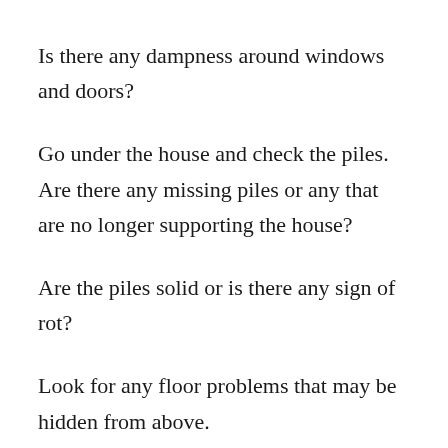Is there any dampness around windows and doors?
Go under the house and check the piles. Are there any missing piles or any that are no longer supporting the house?
Are the piles solid or is there any sign of rot?
Look for any floor problems that may be hidden from above.